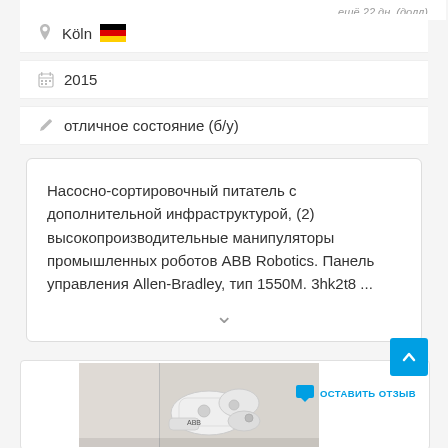Köln 🇩🇪
2015
отличное состояние (б/у)
Насосно-сортировочный питатель с дополнительной инфраструктурой, (2) высокопроизводительные манипуляторы промышленных роботов ABB Robotics. Панель управления Allen-Bradley, тип 1550М. 3hk2t8 ...
[Figure (photo): Photo of an ABB industrial robot arm, white colored, shown in detail from below/side angle in what appears to be an industrial setting.]
ОСТАВИТЬ ОТЗЫВ